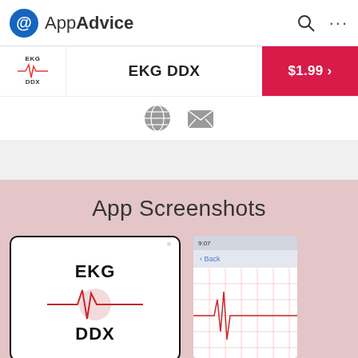AppAdvice
EKG DDX
$1.99 >
App Screenshots
[Figure (screenshot): App screenshot showing EKG DDX logo with red heartbeat waveform]
[Figure (screenshot): Partial app screenshot showing a back button and grid/chart view]